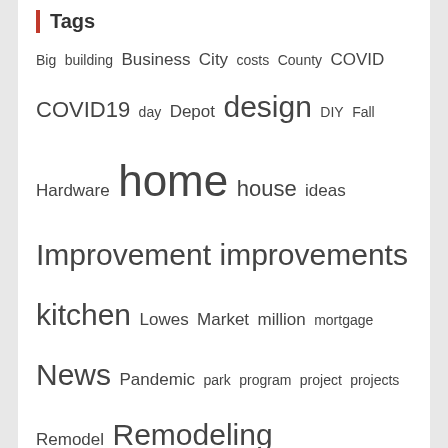Tags
Big building Business City costs County COVID COVID19 day Depot design DIY Fall Hardware home house ideas Improvement improvements kitchen Lowes Market million mortgage News Pandemic park program project projects Remodel Remodeling renovation repair sales Show smart State Stores time Tips Top ways work Working
About Us
Advertise Here
Contact Us
Privacy Policy
Sitemap